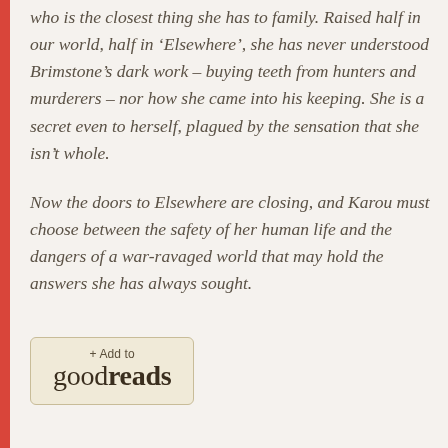who is the closest thing she has to family. Raised half in our world, half in ‘Elsewhere’, she has never understood Brimstone’s dark work – buying teeth from hunters and murderers – nor how she came into his keeping. She is a secret even to herself, plagued by the sensation that she isn’t whole.
Now the doors to Elsewhere are closing, and Karou must choose between the safety of her human life and the dangers of a war-ravaged world that may hold the answers she has always sought.
[Figure (other): Goodreads button with '+ Add to goodreads' text]